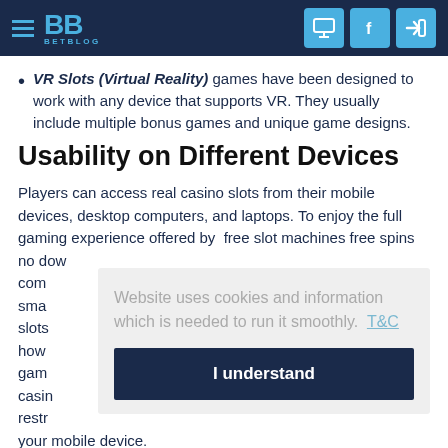BetBlog
VR Slots (Virtual Reality) games have been designed to work with any device that supports VR. They usually include multiple bonus games and unique game designs.
Usability on Different Devices
Players can access real casino slots from their mobile devices, desktop computers, and laptops. To enjoy the full gaming experience offered by free slot machines free spins no dow... com... sma... slots... how... gam... casin... restr... your mobile device.
Website uses cookies and information which is needed to run it smoothly. T&C
I understand